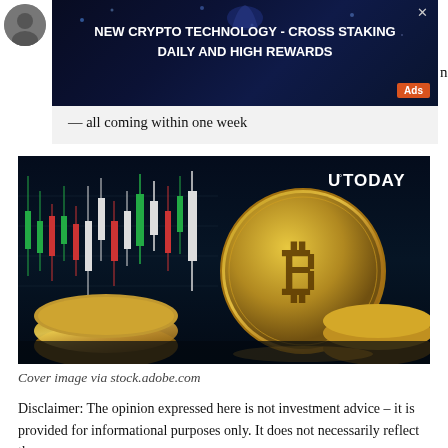[Figure (advertisement): Crypto advertisement banner: 'NEW CRYPTO TECHNOLOGY - CROSS STAKING DAILY AND HIGH REWARDS' on dark blue background with orange Ads label and X close button]
— all coming within one week
[Figure (photo): Bitcoin gold coins stacked with candlestick chart in background. U°TODAY logo visible in top right. Cover image from stock.adobe.com]
Cover image via stock.adobe.com
Disclaimer: The opinion expressed here is not investment advice – it is provided for informational purposes only. It does not necessarily reflect the